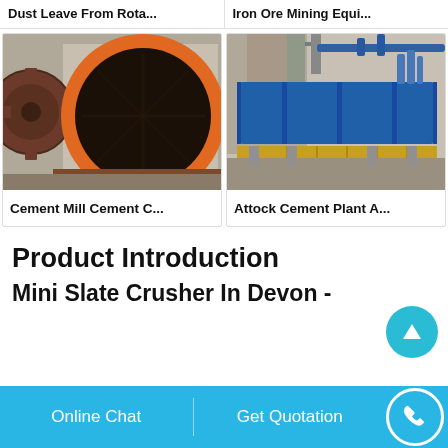Dust Leave From Rota...
Iron Ore Mining Equi...
[Figure (photo): Orange industrial cement mill drum, front-facing circular opening with dark interior, mounted on brown base with gear wheel on left]
[Figure (photo): Large blue industrial rotary kiln or drum at a cement plant, with yellow safety railings and piping infrastructure in background]
Cement Mill Cement C...
Attock Cement Plant A...
Product Introduction
Mini Slate Crusher In Devon -
Online Chat
Get Quotation